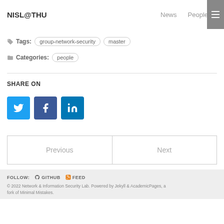NISL@THU  News  People
Tags: group-network-security  master
Categories: people
SHARE ON
[Figure (other): Social share buttons: Twitter, Facebook, LinkedIn]
Previous  Next
FOLLOW: GITHUB  FEED
© 2022 Network & Information Security Lab. Powered by Jekyll & AcademicPages, a fork of Minimal Mistakes.